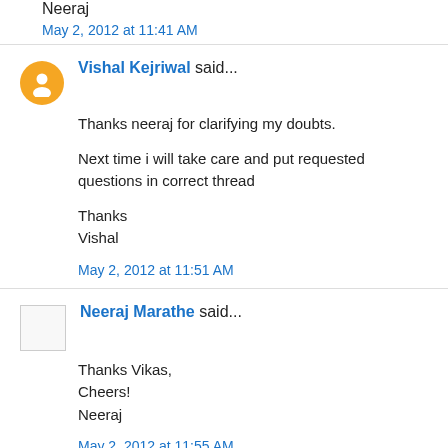Neeraj
May 2, 2012 at 11:41 AM
Vishal Kejriwal said...
Thanks neeraj for clarifying my doubts.
Next time i will take care and put requested questions in correct thread
Thanks
Vishal
May 2, 2012 at 11:51 AM
Neeraj Marathe said...
Thanks Vikas,
Cheers!
Neeraj
May 2, 2012 at 11:55 AM